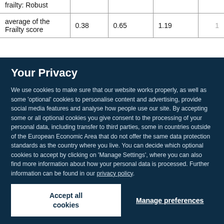|  |  |  |  |  |
| --- | --- | --- | --- | --- |
| frailty: Robust |  |  |  |  |
| average of the Frailty score | 0.38 | 0.65 | 1.19 | 1 |
Your Privacy
We use cookies to make sure that our website works properly, as well as some ‘optional’ cookies to personalise content and advertising, provide social media features and analyse how people use our site. By accepting some or all optional cookies you give consent to the processing of your personal data, including transfer to third parties, some in countries outside of the European Economic Area that do not offer the same data protection standards as the country where you live. You can decide which optional cookies to accept by clicking on ‘Manage Settings’, where you can also find more information about how your personal data is processed. Further information can be found in our privacy policy.
Accept all cookies
Manage preferences